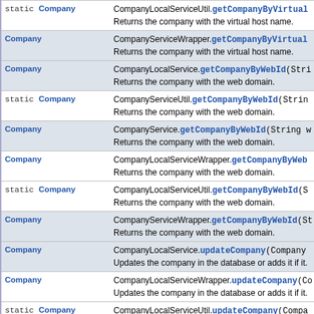| Type | Method and Description |
| --- | --- |
| static Company | CompanyLocalServiceUtil.getCompanyByVirtualH...
Returns the company with the virtual host name. |
| Company | CompanyServiceWrapper.getCompanyByVirtualH...
Returns the company with the virtual host name. |
| Company | CompanyLocalService.getCompanyByWebId(Stri...
Returns the company with the web domain. |
| static Company | CompanyServiceUtil.getCompanyByWebId(String...
Returns the company with the web domain. |
| Company | CompanyService.getCompanyByWebId(String w...
Returns the company with the web domain. |
| Company | CompanyLocalServiceWrapper.getCompanyByWeb...
Returns the company with the web domain. |
| static Company | CompanyLocalServiceUtil.getCompanyByWebId(S...
Returns the company with the web domain. |
| Company | CompanyServiceWrapper.getCompanyByWebId(St...
Returns the company with the web domain. |
| Company | CompanyLocalService.updateCompany(Company ...
Updates the company in the database or adds it if it... |
| Company | CompanyLocalServiceWrapper.updateCompany(Co...
Updates the company in the database or adds it if it... |
| static Company | CompanyLocalServiceUtil.updateCompany(Compa...
Updates the company in the database or adds it if it... |
| Company | CompanyLocalService.updateCompany(long com...
String mx, int maxUsers, boolean active... |